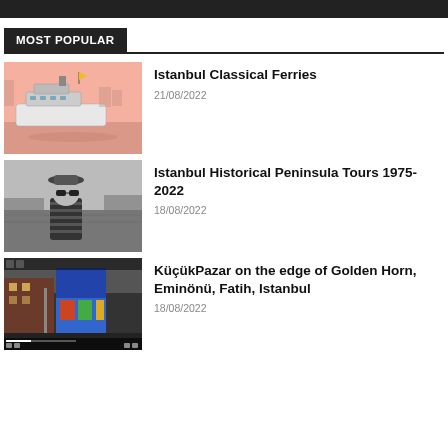MOST POPULAR
[Figure (photo): Istanbul classical ferry boat on water with pink/salmon colored background]
Istanbul Classical Ferries
21/08/2022
[Figure (photo): Black and white photo of a person with sunglasses and striped shirt near Istanbul waterfront]
Istanbul Historical Peninsula Tours 1975-2022
18/08/2022
[Figure (screenshot): Video thumbnail showing KüçükPazar street scene with colorful buildings]
KüçükPazar on the edge of Golden Horn, Eminönü, Fatih, Istanbul
18/08/2022